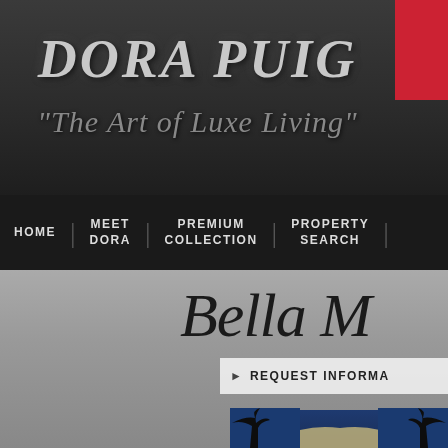DORA PUIG
"The Art of Luxe Living"
HOME | MEET DORA | PREMIUM COLLECTION | PROPERTY SEARCH
Bella M
▶ REQUEST INFORMA